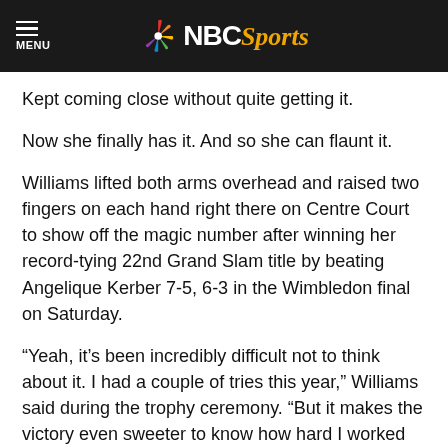NBC Sports
Kept coming close without quite getting it.
Now she finally has it. And so she can flaunt it.
Williams lifted both arms overhead and raised two fingers on each hand right there on Centre Court to show off the magic number after winning her record-tying 22nd Grand Slam title by beating Angelique Kerber 7-5, 6-3 in the Wimbledon final on Saturday.
“Yeah, it’s been incredibly difficult not to think about it. I had a couple of tries this year,” Williams said during the trophy ceremony. “But it makes the victory even sweeter to know how hard I worked for it.”
She pulled even with Steffi Graf for the most major championships in the Open era, which began in 1968. Now Williams stands behind only Margaret Court’s all-